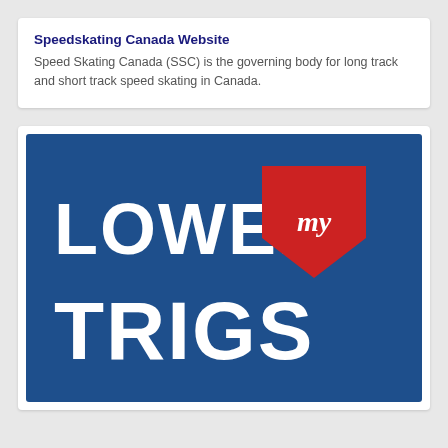Speedskating Canada Website
Speed Skating Canada (SSC) is the governing body for long track and short track speed skating in Canada.
[Figure (logo): Lower My Trigs logo — bold white text 'LOWER TRIGS' on dark blue background with a red shield badge containing the word 'my' in white italic script]